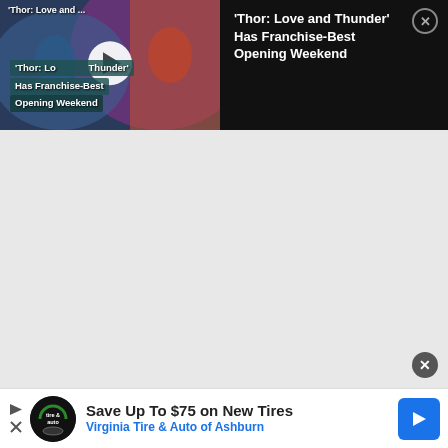[Figure (screenshot): Video thumbnail for 'Thor: Love and Thunder Has Franchise-Best Opening Weekend' with play button overlay and movie imagery]
'Thor: Love and Thunder' Has Franchise-Best Opening Weekend
[Figure (photo): Large empty grey content area below the video panel]
[Figure (infographic): Advertisement banner: Save Up To $75 on New Tires - Virginia Tire & Auto of Ashburn]